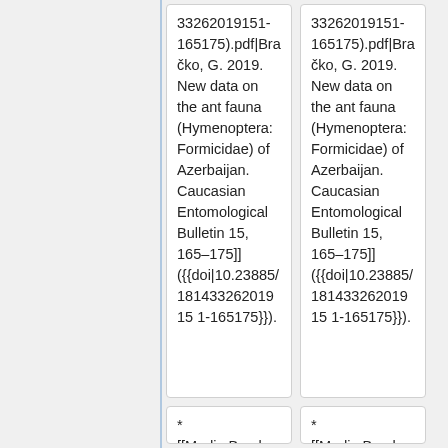33262019151-165175).pdf|Bračko, G. 2019. New data on the ant fauna (Hymenoptera: Formicidae) of Azerbaijan. Caucasian Entomological Bulletin 15, 165–175]] ({{doi|10.23885/18143326201915 1-165175}}).
33262019151-165175).pdf|Bračko, G. 2019. New data on the ant fauna (Hymenoptera: Formicidae) of Azerbaijan. Caucasian Entomological Bulletin 15, 165–175]] ({{doi|10.23885/18143326201915 1-165175}}).
*[[Media:Bracko, G., Wagner, H.C. et al. 2014. New investigation and a revised checklist of the ants of the
*[[Media:Bracko, G., Wagner, H.C. et al. 2014. New investigation and a revised checklist of the ants of the